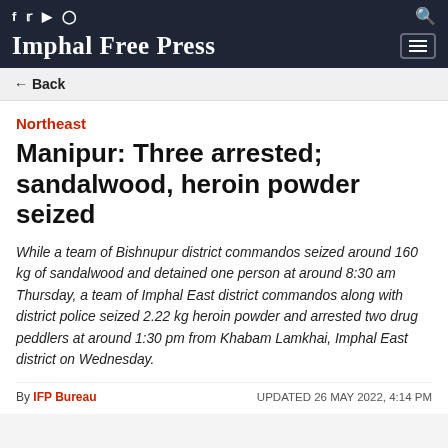Imphal Free Press
← Back
Northeast
Manipur: Three arrested; sandalwood, heroin powder seized
While a team of Bishnupur district commandos seized around 160 kg of sandalwood and detained one person at around 8:30 am Thursday, a team of Imphal East district commandos along with district police seized 2.22 kg heroin powder and arrested two drug peddlers at around 1:30 pm from Khabam Lamkhai, Imphal East district on Wednesday.
By IFP Bureau   UPDATED 26 MAY 2022, 4:14 PM